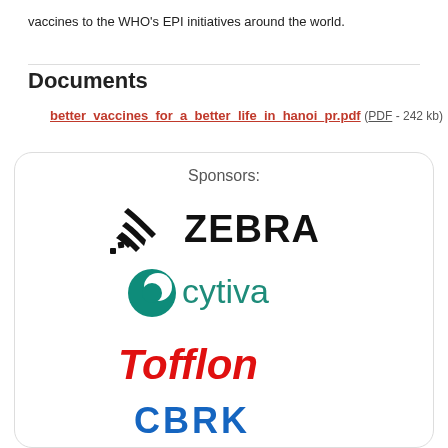vaccines to the WHO's EPI initiatives around the world.
Documents
better_vaccines_for_a_better_life_in_hanoi_pr.pdf (PDF - 242 kb)
[Figure (infographic): Sponsors box with logos: Zebra, cytiva, Tofflon, and a partially visible fourth logo]